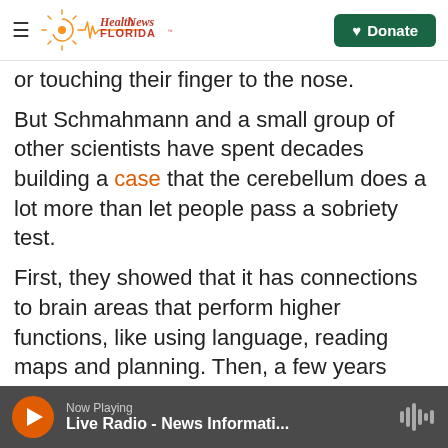Health News Florida — Donate
or touching their finger to the nose.
But Schmahmann and a small group of other scientists have spent decades building a case that the cerebellum does a lot more than let people pass a sobriety test.
First, they showed that it has connections to brain areas that perform higher functions, like using language, reading maps and planning. Then, a few years ago, researchers began to do functional MRI studies that suggested that the cerebellum was actively involved in these tasks.
Now Playing — Live Radio - News Informati...